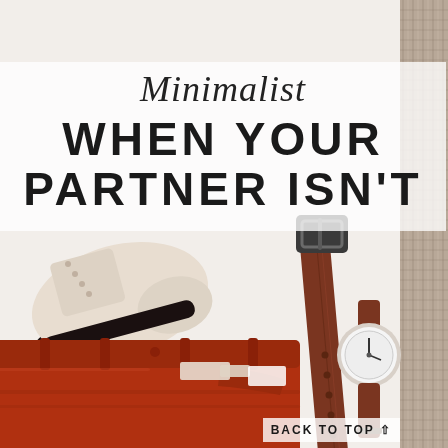[Figure (photo): Flat lay photo of men's accessories and clothing on a white surface: rust/terracotta chinos folded at bottom left, a long brown leather belt in the center, a minimalist watch with brown leather strap at right center, a brown leather oxford dress shoe at top left, a light beige knit fabric/rug at the right edge. Background is white with a tan/beige woven textile on the right side.]
Minimalist WHEN YOUR PARTNER ISN'T
BACK TO TOP ↑